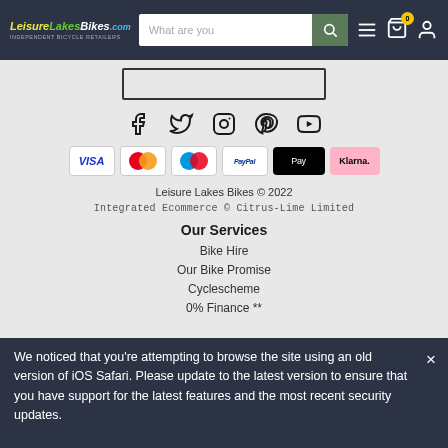LeisureLakesBikes.com — navigation bar with search, menu, cart (0), and account icons
[Figure (logo): LeisureLakesBikes.com logo in yellow/green/white on dark background]
[Figure (infographic): Social media icons: Facebook, Twitter, Instagram, Pinterest, YouTube]
[Figure (infographic): Payment method badges: Visa, Mastercard, Maestro, PayPal, Apple Pay, Klarna]
Leisure Lakes Bikes © 2022
Integrated Ecommerce © Citrus-Lime Limited
Our Services
Bike Hire
Our Bike Promise
Cyclescheme
0% Finance **
We noticed that you're attempting to browse the site using an old version of iOS Safari. Please update to the latest version to ensure that you have support for the latest features and the most recent security updates.